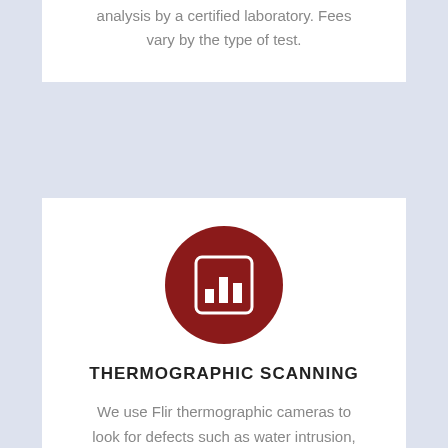analysis by a certified laboratory. Fees vary by the type of test.
[Figure (illustration): Dark red circular icon containing a white bar chart / analytics icon inside a white rounded rectangle frame]
THERMOGRAPHIC SCANNING
We use Flir thermographic cameras to look for defects such as water intrusion, missing insulation, overheating electrical